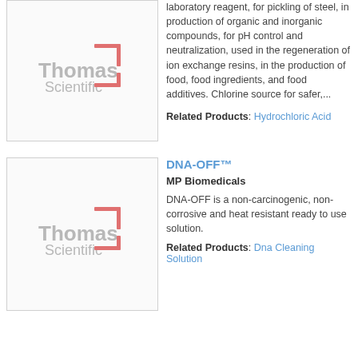[Figure (logo): Thomas Scientific logo placeholder in a bordered box]
laboratory reagent, for pickling of steel, in production of organic and inorganic compounds, for pH control and neutralization, used in the regeneration of ion exchange resins, in the production of food, food ingredients, and food additives. Chlorine source for safer,...
Related Products: Hydrochloric Acid
DNA-OFF™
MP Biomedicals
[Figure (logo): Thomas Scientific logo placeholder in a bordered box]
DNA-OFF is a non-carcinogenic, non-corrosive and heat resistant ready to use solution.
Related Products: Dna Cleaning Solution